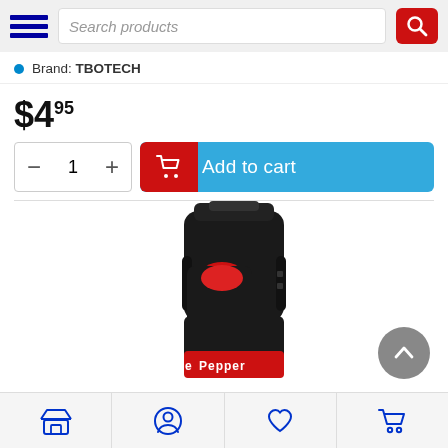Search products
Brand: TBOTECH
$4.95
Add to cart
[Figure (photo): Black pepper spray device with red trigger button and red label showing 'Pepper' text, photographed from top-front angle on white background]
Navigation bar with store, profile, wishlist, and cart icons